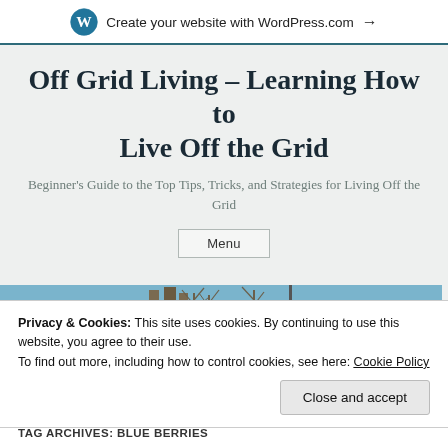Create your website with WordPress.com →
Off Grid Living – Learning How to Live Off the Grid
Beginner's Guide to the Top Tips, Tricks, and Strategies for Living Off the Grid
Menu
[Figure (photo): Aerial photo of a house with solar panels and trees in the background under blue sky]
Privacy & Cookies: This site uses cookies. By continuing to use this website, you agree to their use.
To find out more, including how to control cookies, see here: Cookie Policy
Close and accept
TAG ARCHIVES: BLUE BERRIES